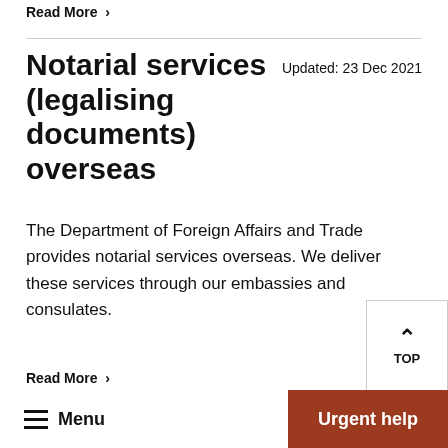Read More ›
Notarial services (legalising documents) overseas
Updated: 23 Dec 2021
The Department of Foreign Affairs and Trade provides notarial services overseas. We deliver these services through our embassies and consulates.
Read More ›
Menu  Urgent help